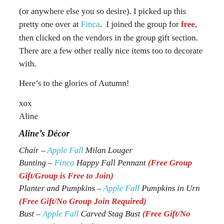(or anywhere else you so desire).  I picked up this pretty one over at Finca.  I joined the group for free, then clicked on the vendors in the group gift section.  There are a few other really nice items too to decorate with.
Here’s to the glories of Autumn!
xox
Aline
Aline’s Décor
Chair – Apple Fall Milan Louger
Bunting – Finca Happy Fall Pennant (Free Group Gift/Group is Free to Join)
Planter and Pumpkins – Apple Fall Pumpkins in Urn (Free Gift/No Group Join Required)
Bust – Apple Fall Carved Stag Bust (Free Gift/No Group Join Required)
Leaves in Jug – Vespertine Oak Branch Arrangement